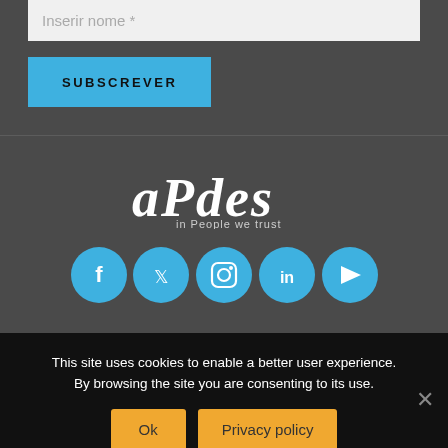Inserir nome *
SUBSCREVER
[Figure (logo): aPdes logo with tagline 'in People we trust' in white on dark grey background]
[Figure (infographic): Row of 5 social media icons (Facebook, Twitter, Instagram, LinkedIn, YouTube) as blue circles on dark grey background]
This site uses cookies to enable a better user experience. By browsing the site you are consenting to its use.
Ok
Privacy policy